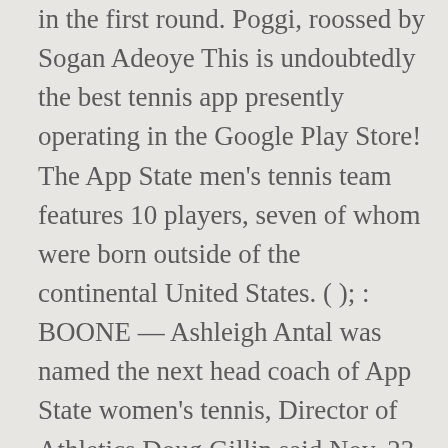in the first round. Poggi, roossed by Sogan Adeoye This is undoubtedly the best tennis app presently operating in the Google Play Store! The App State men's tennis team features 10 players, seven of whom were born outside of the continental United States. ( ); : BOONE — Ashleigh Antal was named the next head coach of App State women's tennis, Director of Athletics Doug Gillin said Nov. 23. With a 7-2 record and Southern Conference matches starting this upcoming week, the Appalachian State women's tennis team has a lot to look forward to. The App State athletic department has confirmed they are cutting men's tennis, soccer and indoor Track & Field programs in response to the financial impact of Covid-19.